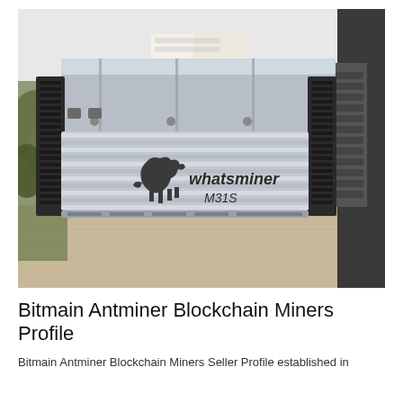[Figure (photo): A Whatsminer M31S cryptocurrency mining hardware unit sitting on a wooden table. The device has a silver/aluminum rectangular enclosure with 'whatsminer M31S' branding and logo on the front. It has black fan grilles on both sides and a power supply unit attached to the right. Background shows a white wall and some green foliage on the left.]
Bitmain Antminer Blockchain Miners Profile
Bitmain Antminer Blockchain Miners Seller Profile established in